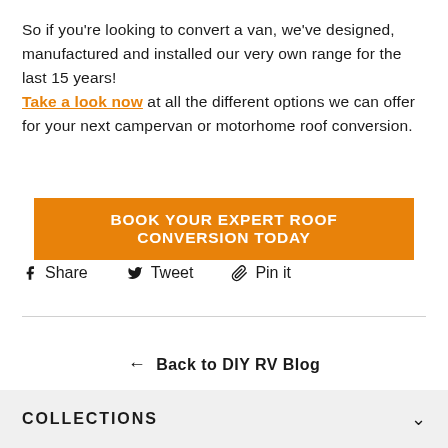So if you're looking to convert a van, we've designed, manufactured and installed our very own range for the last 15 years! Take a look now at all the different options we can offer for your next campervan or motorhome roof conversion.
BOOK YOUR EXPERT ROOF CONVERSION TODAY
Share   Tweet   Pin it
← Back to DIY RV Blog
COLLECTIONS